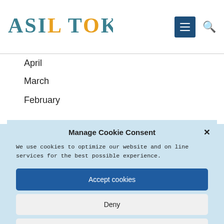ASIL TOKSAL — navigation header with menu and search icons
April
March
February
Manage Cookie Consent
We use cookies to optimize our website and online services for the best possible experience.
Accept cookies
Deny
View preferences
Cookie Policy   Privacy Policy   Contact / Imprint